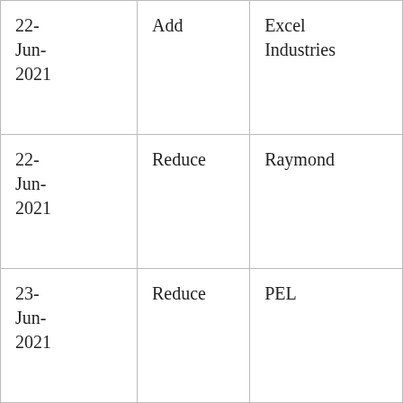| 22-Jun-2021 | Add | Excel Industries |
| 22-Jun-2021 | Reduce | Raymond |
| 23-Jun-2021 | Reduce | PEL |